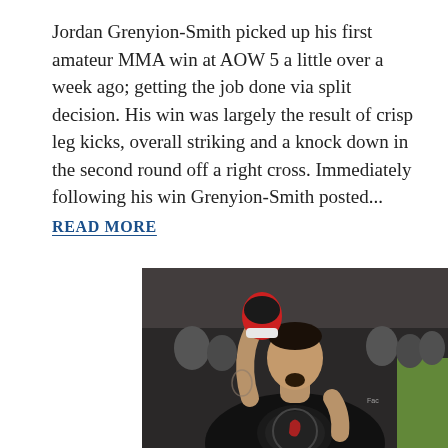Jordan Grenyion-Smith picked up his first amateur MMA win at AOW 5 a little over a week ago; getting the job done via split decision. His win was largely the result of crisp leg kicks, overall striking and a knock down in the second round off a right cross. Immediately following his win Grenyion-Smith posted...
READ MORE
[Figure (photo): A male MMA fighter wearing a black Dinamite t-shirt, raising a red and black boxing glove, with audience visible in the background.]